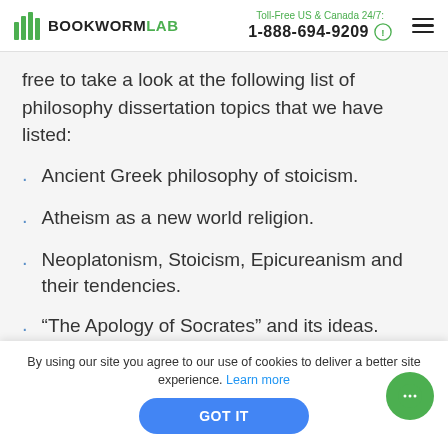BOOKWORMLAB | Toll-Free US & Canada 24/7: 1-888-694-9209
free to take a look at the following list of philosophy dissertation topics that we have listed:
Ancient Greek philosophy of stoicism.
Atheism as a new world religion.
Neoplatonism, Stoicism, Epicureanism and their tendencies.
“The Apology of Socrates” and its ideas.
Aristotle and Machiavelli.
By using our site you agree to our use of cookies to deliver a better site experience. Learn more GOT IT